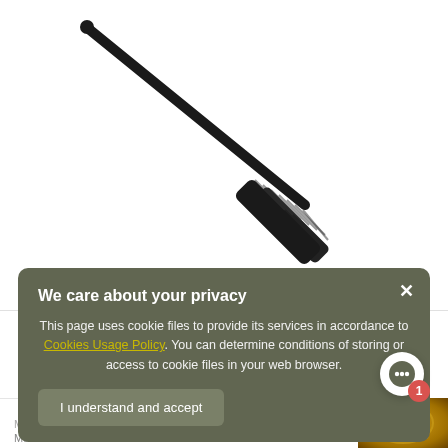[Figure (photo): A black expandable baton (collapsible police baton) shown diagonally on a white background, with a textured grip handle at the bottom right and a rounded tip at the top left.]
We care about your privacy
This page uses cookie files to provide its services in accordance to Cookies Usage Policy. You can determine conditions of storing or access to cookie files in your web browser.
I understand and accept
[Figure (photo): Partial view of a golden/bronze colored decorative object at the bottom right corner.]